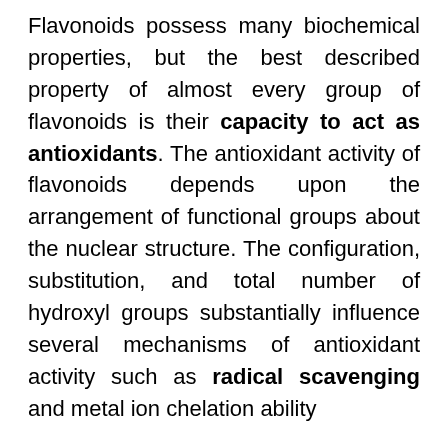Flavonoids possess many biochemical properties, but the best described property of almost every group of flavonoids is their capacity to act as antioxidants. The antioxidant activity of flavonoids depends upon the arrangement of functional groups about the nuclear structure. The configuration, substitution, and total number of hydroxyl groups substantially influence several mechanisms of antioxidant activity such as radical scavenging and metal ion chelation ability
Hepatoprotective activities were observed in flavonoids isolated from Laggera alata against carbon-tetrachloride (CCl4-) induced injury in primary cultured neonatal rat hepatocytes and